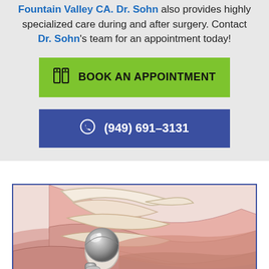Fountain Valley CA. Dr. Sohn also provides highly specialized care during and after surgery. Contact Dr. Sohn's team for an appointment today!
BOOK AN APPOINTMENT
(949) 691-3131
[Figure (illustration): Medical illustration of a shoulder joint replacement prosthesis showing a metallic ball joint implant with surrounding muscle and tendon anatomy in pink/red tones against a light background.]